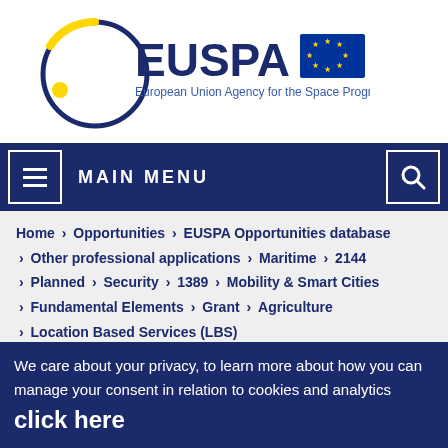[Figure (logo): EUSPA – European Union Agency for the Space Programme logo with EU flag]
MAIN MENU
Home > Opportunities > EUSPA Opportunities database > Other professional applications > Maritime > 2144 > Planned > Security > 1389 > Mobility & Smart Cities > Fundamental Elements > Grant > Agriculture > Location Based Services (LBS)
We care about your privacy, to learn more about how you can manage your consent in relation to cookies and analytics click here